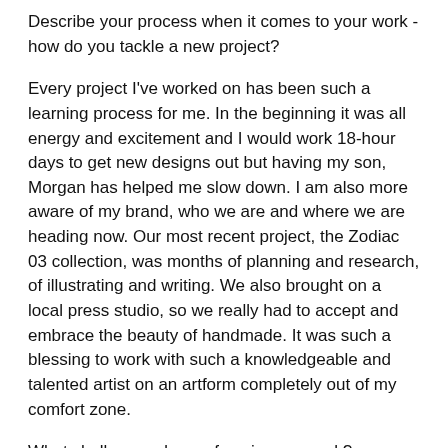Describe your process when it comes to your work - how do you tackle a new project?
Every project I've worked on has been such a learning process for me. In the beginning it was all energy and excitement and I would work 18-hour days to get new designs out but having my son, Morgan has helped me slow down. I am also more aware of my brand, who we are and where we are heading now. Our most recent project, the Zodiac 03 collection, was months of planning and research, of illustrating and writing. We also brought on a local press studio, so we really had to accept and embrace the beauty of handmade. It was such a blessing to work with such a knowledgeable and talented artist on an artform completely out of my comfort zone.
What challenges do you face in your work?
My biggest challenge has been defining and enforcing a work/life balance. The reality of being a small business is that we are almost always working, in store, at home, at night and on weekends. It is very hard to switch off and part